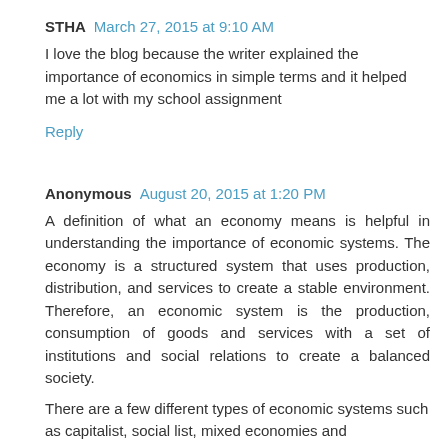STHA  March 27, 2015 at 9:10 AM
I love the blog because the writer explained the importance of economics in simple terms and it helped me a lot with my school assignment
Reply
Anonymous  August 20, 2015 at 1:20 PM
A definition of what an economy means is helpful in understanding the importance of economic systems. The economy is a structured system that uses production, distribution, and services to create a stable environment. Therefore, an economic system is the production, consumption of goods and services with a set of institutions and social relations to create a balanced society.
There are a few different types of economic systems such as capitalist, social list, mixed economies and communism. Economic systems do not have to be on a global scale or